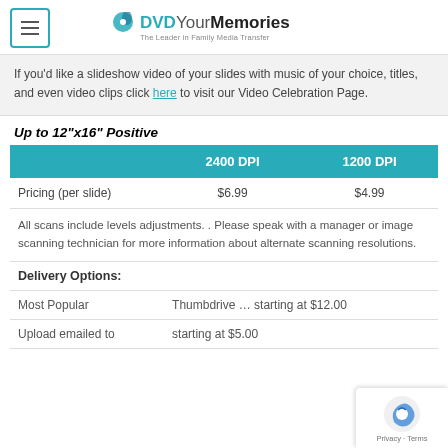DVDYourMemories — The Leader in Family Media Transfer
If you'd like a slideshow video of your slides with music of your choice, titles, and even video clips click here to visit our Video Celebration Page.
Up to 12"x16" Positive
|  | 2400 DPI | 1200 DPI |
| --- | --- | --- |
| Pricing (per slide) | $6.99 | $4.99 |
| All scans include levels adjustments. . Please speak with a manager or image scanning technician for more information about alternate scanning resolutions. |  |  |
| Delivery Options: |  |  |
| Most Popular | Thumbdrive … starting at $12.00 |  |
| Upload emailed to | starting at $5.00 |  |